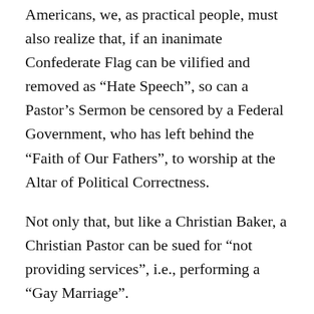Americans, we, as practical people, must also realize that, if an inanimate Confederate Flag can be vilified and removed as “Hate Speech”, so can a Pastor’s Sermon be censored by a Federal Government, who has left behind the “Faith of Our Fathers”, to worship at the Altar of Political Correctness.
Not only that, but like a Christian Baker, a Christian Pastor can be sued for “not providing services”, i.e., performing a “Gay Marriage”.
While Modern American Liberals, under the rights granted to us by our Constitution, have every right to speak their mind, blackmail and intimidation of the Majority, is not a guaranteed right.